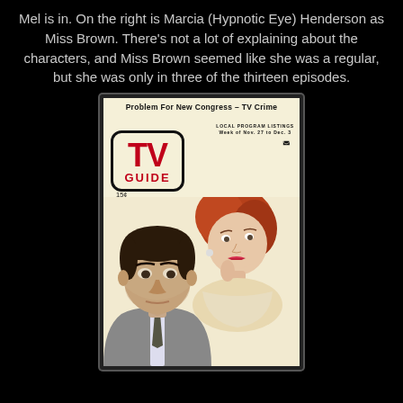Mel is in. On the right is Marcia (Hypnotic Eye) Henderson as Miss Brown. There's not a lot of explaining about the characters, and Miss Brown seemed like she was a regular, but she was only in three of the thirteen episodes.
[Figure (illustration): TV Guide magazine cover showing two people — a serious-looking man in a suit at lower left and a smiling red-haired woman at upper right. The cover reads 'Problem For New Congress – TV Crime', 'LOCAL PROGRAM LISTINGS Week of Nov. 27 to Dec. 3', with the TV GUIDE logo (large red TV letters with GUIDE below) and price '15¢'.]